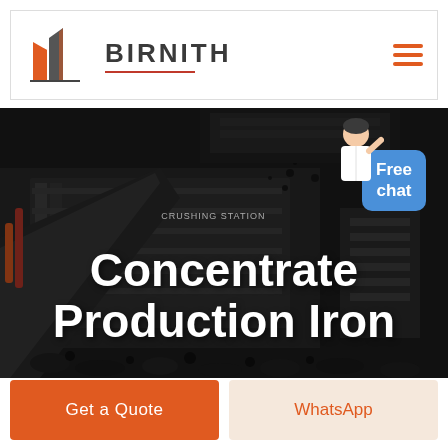[Figure (logo): Birnith company logo: orange and grey building icon with 'BIRNITH' text and red underline]
[Figure (photo): Industrial crushing station machinery with dark rocks/coal being processed, dark moody industrial photograph]
Concentrate Production Iron
[Figure (illustration): Customer service woman in white blazer next to blue 'Free chat' button]
Get a Quote
WhatsApp